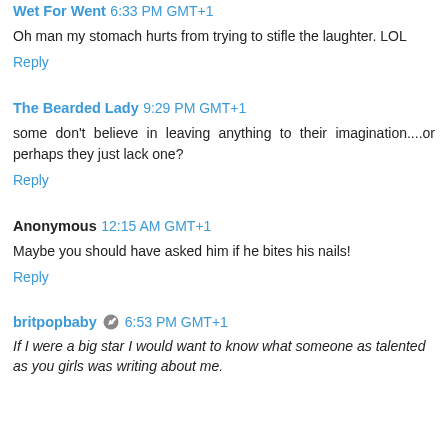Wet For Went 6:33 PM GMT+1
Oh man my stomach hurts from trying to stifle the laughter. LOL
Reply
The Bearded Lady 9:29 PM GMT+1
some don't believe in leaving anything to their imagination....or perhaps they just lack one?
Reply
Anonymous 12:15 AM GMT+1
Maybe you should have asked him if he bites his nails!
Reply
britpopbaby 6:53 PM GMT+1
If I were a big star I would want to know what someone as talented as you girls was writing about me.